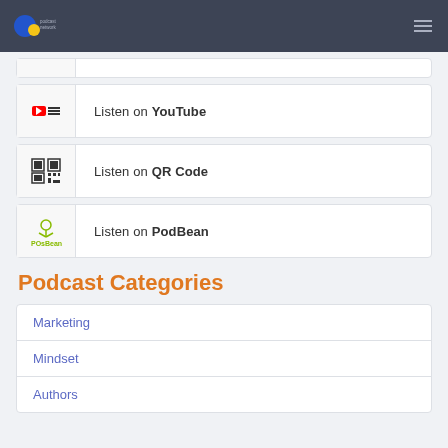[Figure (screenshot): Partial listen card cut off at top]
Listen on YouTube
Listen on QR Code
Listen on PodBean
Podcast Categories
Marketing
Mindset
Authors